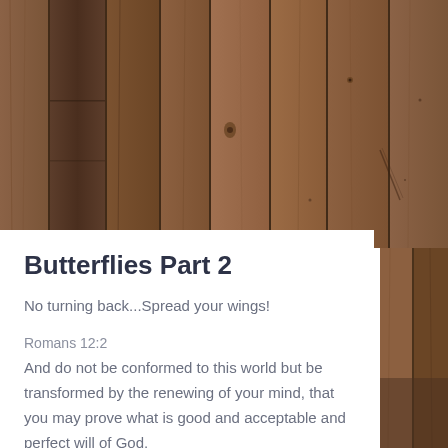[Figure (photo): Rustic wood plank background filling the top portion and right side of the page. Dark and medium brown weathered wooden planks arranged vertically with visible grain, knots, and nail holes.]
Butterflies Part 2
No turning back...Spread your wings!
Romans 12:2
And do not be conformed to this world but be transformed by the renewing of your mind, that you may prove what is good and acceptable and perfect will of God.